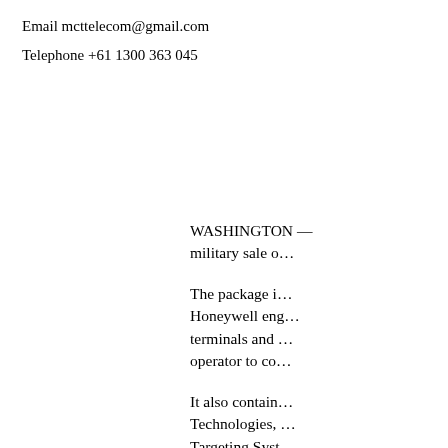Email mcttelecom@gmail.com
Telephone +61 1300 363 045
WASHINGTON — military sale o…
The package i… Honeywell eng… terminals and … operator to co…
It also contain… Technologies, … Targeting Syst… …adors. L…